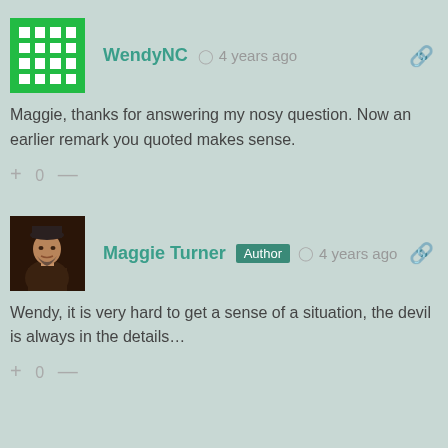WendyNC  4 years ago
Maggie, thanks for answering my nosy question. Now an earlier remark you quoted makes sense.
+ 0 —
Maggie Turner  Author  4 years ago
Wendy, it is very hard to get a sense of a situation, the devil is always in the details…
+ 0 —